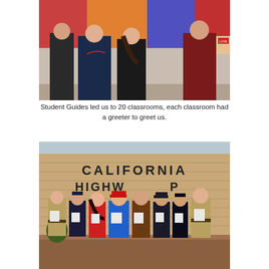[Figure (photo): Group photo of adults and students standing together indoors, one student wearing a Nike SB hoodie, another in a black t-shirt, and adults in formal and casual clothing.]
Student Guides led us to 20 classrooms, each classroom had a greeter to greet us.
[Figure (photo): Group of eight people standing in front of a brick wall with 'CALIFORNIA HIGHWAY PATROL' lettering. Includes uniformed CHP officers and civilians holding white bags/items. One person wearing a red hat and blue shirt.]